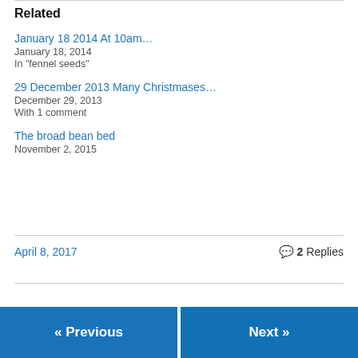Related
January 18 2014 At 10am…
January 18, 2014
In "fennel seeds"
29 December 2013 Many Christmases…
December 29, 2013
With 1 comment
The broad bean bed
November 2, 2015
April 8, 2017
2 Replies
« Previous
Next »